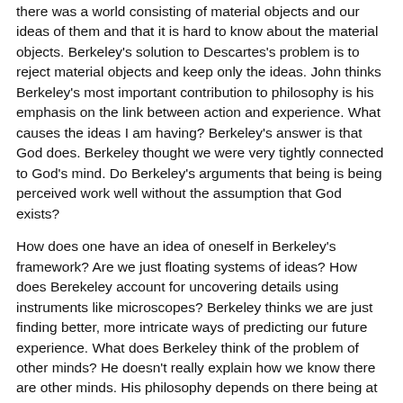there was a world consisting of material objects and our ideas of them and that it is hard to know about the material objects. Berkeley's solution to Descartes's problem is to reject material objects and keep only the ideas. John thinks Berkeley's most important contribution to philosophy is his emphasis on the link between action and experience. What causes the ideas I am having? Berkeley's answer is that God does. Berkeley thought we were very tightly connected to God's mind. Do Berkeley's arguments that being is being perceived work well without the assumption that God exists?
How does one have an idea of oneself in Berkeley's framework? Are we just floating systems of ideas? How does Berekeley account for uncovering details using instruments like microscopes? Berkeley thinks we are just finding better, more intricate ways of predicting our future experience. What does Berkeley think of the problem of other minds? He doesn't really explain how we know there are other minds. His philosophy depends on there being at least one other mind, that of God. Ken closes by talking about how one of the biggest problems for any philosopher is identifying the correct link between our ideas and the world.
Roving Philosophical Report (Seek to 03:55): Rujun Shen